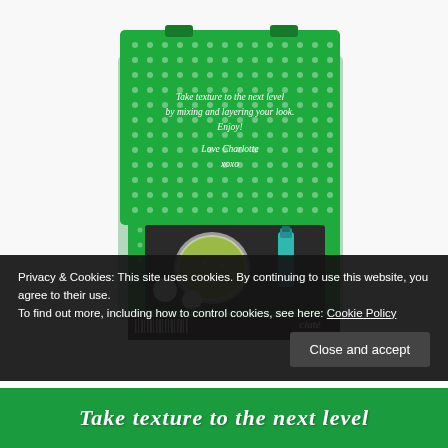[Figure (photo): Open green Ciate nail polish kit box with glitter caviar manicure set, showing nail polish bottle, glitter pot, and accessories. Box lid has cursive text: 'Take texture to the next level by mixing and layering your look. Enjoy! Love Charlotte xoxo'. Bottom shows barcode and Ciate logo. Website www.allthesmallstuffandthings.com visible on box.]
Privacy & Cookies: This site uses cookies. By continuing to use this website, you agree to their use.
To find out more, including how to control cookies, see here: Cookie Policy
Close and accept
Take texture to the next level